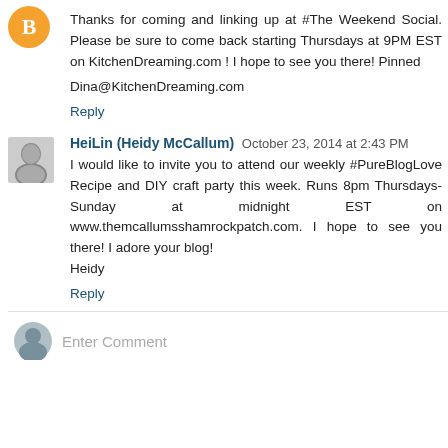Thanks for coming and linking up at #The Weekend Social. Please be sure to come back starting Thursdays at 9PM EST on KitchenDreaming.com ! I hope to see you there! Pinned

Dina@KitchenDreaming.com
Reply
HeiLin (Heidy McCallum) October 23, 2014 at 2:43 PM
I would like to invite you to attend our weekly #PureBlogLove Recipe and DIY craft party this week. Runs 8pm Thursdays-Sunday at midnight EST on www.themcallumsshamrockpatch.com. I hope to see you there! I adore your blog!
Heidy
Reply